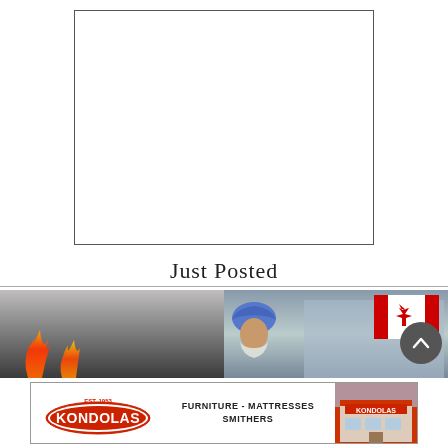[Figure (other): Empty white rectangle with thin border, placeholder image area]
Just Posted
[Figure (photo): Left photo strip showing fire/flames against a dark smoky background]
[Figure (photo): Right photo strip showing a man wearing a blue turban with a Canadian flag in background]
[Figure (other): Scroll-to-top circular button with upward chevron arrow]
[Figure (other): Kondolas advertisement banner: FURNITURE - MATTRESSES SMITHERS, with Kondolas logo and store photo]